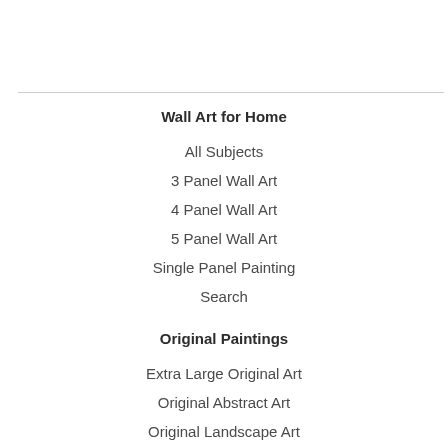Wall Art for Home
All Subjects
3 Panel Wall Art
4 Panel Wall Art
5 Panel Wall Art
Single Panel Painting
Search
Original Paintings
Extra Large Original Art
Original Abstract Art
Original Landscape Art